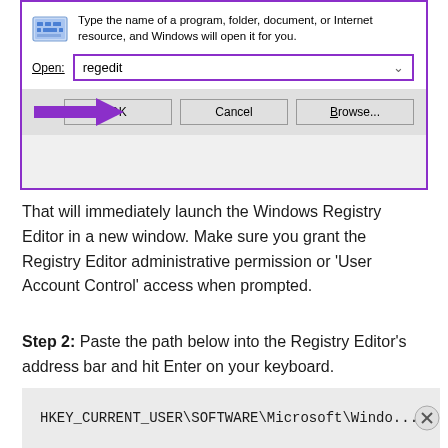[Figure (screenshot): Windows Run dialog box screenshot with 'regedit' typed in the Open field, highlighted with a purple border. A purple arrow points to the OK button. Buttons: OK, Cancel, Browse...]
That will immediately launch the Windows Registry Editor in a new window. Make sure you grant the Registry Editor administrative permission or 'User Account Control' access when prompted.
Step 2: Paste the path below into the Registry Editor's address bar and hit Enter on your keyboard.
HKEY_CURRENT_USER\SOFTWARE\Microsoft\Windo...